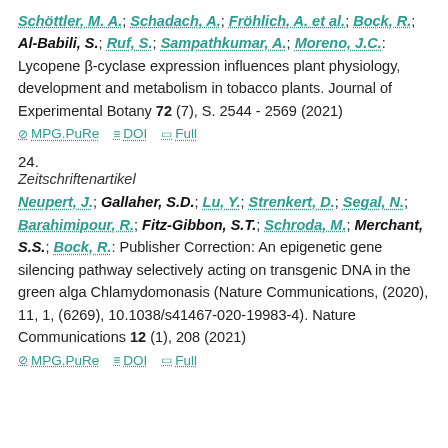Schöttler, M. A.; Schadach, A.; Fröhlich, A. et al.; Bock, R.; Al-Babili, S.; Ruf, S.; Sampathkumar, A.; Moreno, J.C.: Lycopene β-cyclase expression influences plant physiology, development and metabolism in tobacco plants. Journal of Experimental Botany 72 (7), S. 2544 - 2569 (2021)
MPG.PuRe  DOI  Full
24.
Zeitschriftenartikel
Neupert, J.; Gallaher, S.D.; Lu, Y.; Strenkert, D.; Segal, N.; Barahimipour, R.; Fitz-Gibbon, S.T.; Schroda, M.; Merchant, S.S.; Bock, R.: Publisher Correction: An epigenetic gene silencing pathway selectively acting on transgenic DNA in the green alga Chlamydomonasis (Nature Communications, (2020), 11, 1, (6269), 10.1038/s41467-020-19983-4). Nature Communications 12 (1), 208 (2021)
MPG.PuRe  DOI  Full